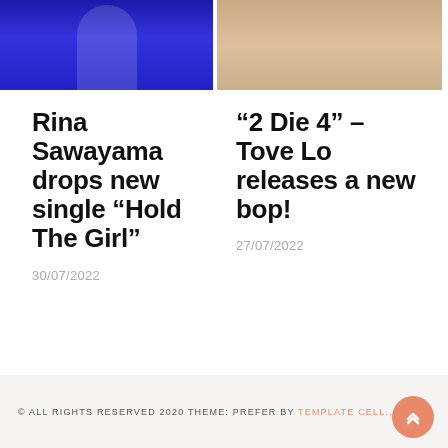[Figure (photo): Photo of woman against blue background, cropped to top portion]
[Figure (photo): Photo of person on sandy beach, cropped to top portion]
Rina Sawayama drops new single “Hold The Girl”
30/07/2022
“2 Die 4” – Tove Lo releases a new bop!
27/07/2022
© ALL RIGHTS RESERVED 2020 THEME: PREFER BY TEMPLATE CELL..